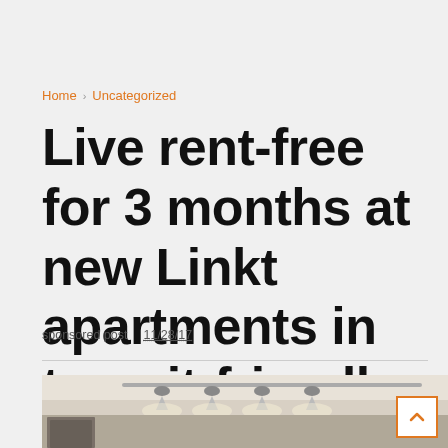Home › Uncategorized
Live rent-free for 3 months at new Linkt apartments in transit-friendly River West
sponsored post   11/28/17
[Figure (photo): Interior photo of a modern apartment showing track lighting on the ceiling and a partial view of a room]
[Figure (other): Back to top button with orange chevron arrow]